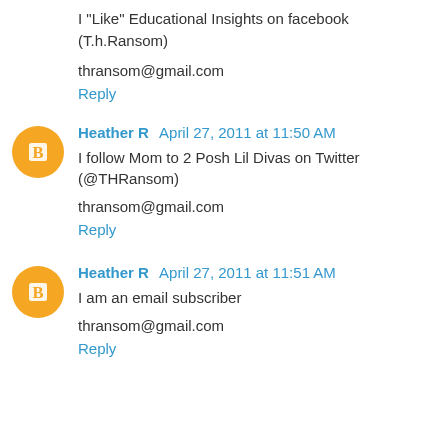I "Like" Educational Insights on facebook (T.h.Ransom)
thransom@gmail.com
Reply
Heather R April 27, 2011 at 11:50 AM
I follow Mom to 2 Posh Lil Divas on Twitter (@THRansom)
thransom@gmail.com
Reply
Heather R April 27, 2011 at 11:51 AM
I am an email subscriber
thransom@gmail.com
Reply